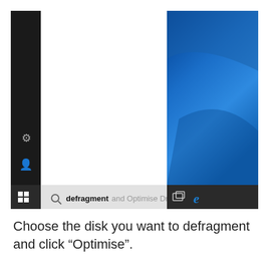[Figure (screenshot): Windows 10 Start Menu and taskbar screenshot showing a search bar with 'defragment and Optimise Drives' typed in, with Windows desktop visible on the right side showing a blue gradient wallpaper, and taskbar icons including Windows start button, gear/settings icon, user icon on the left sidebar.]
Choose the disk you want to defragment and click "Optimise".